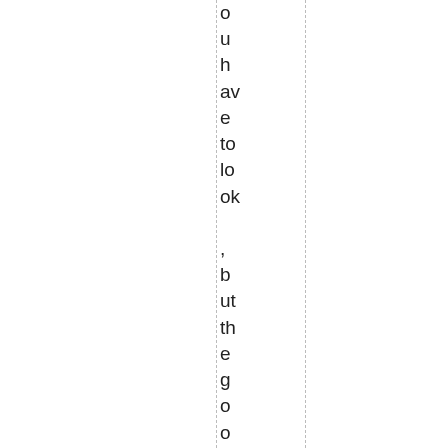o u h av e to lo ok , b ut th e g o o d st uf f IS av ail a bl e wi th o ut